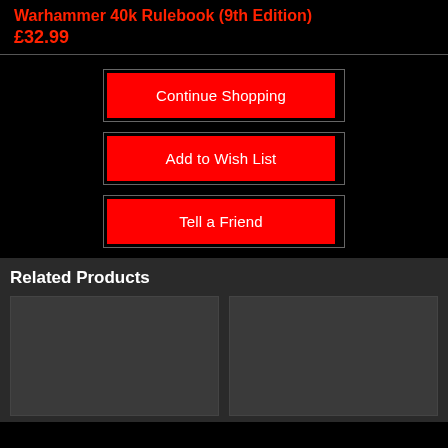Warhammer 40k Rulebook (9th Edition)
£32.99
Continue Shopping
Add to Wish List
Tell a Friend
Related Products
[Figure (other): Two placeholder product image boxes side by side in the Related Products section]